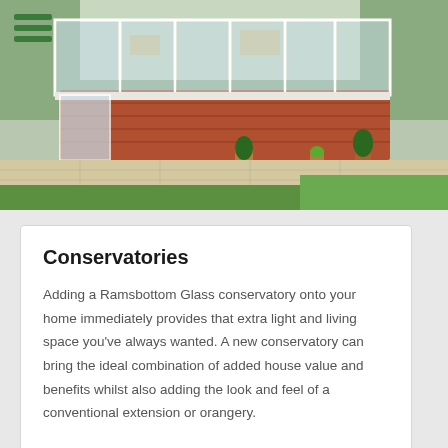[Figure (photo): Exterior photograph of a brick conservatory with white uPVC frames and glass roof panels, attached to a house, with potted plants and a landscaped garden with green grass in the foreground.]
Conservatories
Adding a Ramsbottom Glass conservatory onto your home immediately provides that extra light and living space you’ve always wanted. A new conservatory can bring the ideal combination of added house value and benefits whilst also adding the look and feel of a conventional extension or orangery.